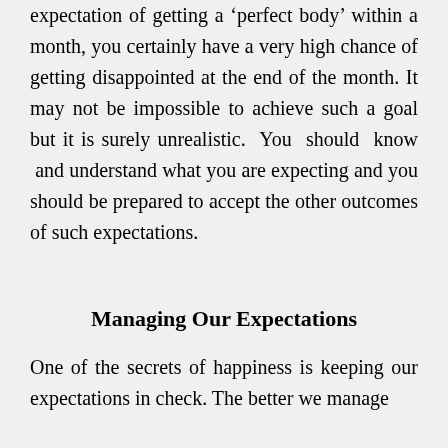expectation of getting a 'perfect body' within a month, you certainly have a very high chance of getting disappointed at the end of the month. It may not be impossible to achieve such a goal but it is surely unrealistic. You should know and understand what you are expecting and you should be prepared to accept the other outcomes of such expectations.
Managing Our Expectations
One of the secrets of happiness is keeping our expectations in check. The better we manage